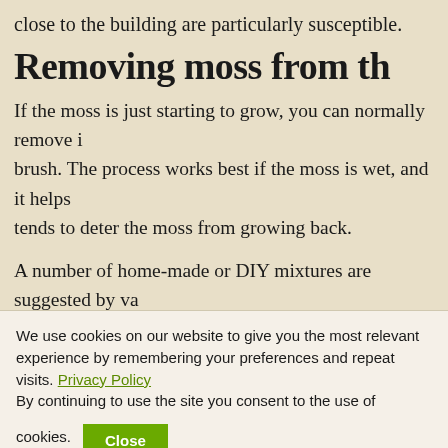close to the building are particularly susceptible.
Removing moss from th
If the moss is just starting to grow, you can normally remove i brush. The process works best if the moss is wet, and it helps tends to deter the moss from growing back.
A number of home-made or DIY mixtures are suggested by va the top picks don't really come as a surprise, as the ingredien regular go-to options for most cleaning situations.
We use cookies on our website to give you the most relevant experience by remembering your preferences and repeat visits. Privacy Policy By continuing to use the site you consent to the use of cookies. Close